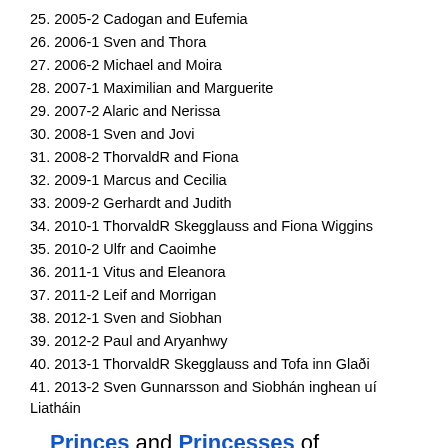25. 2005-2 Cadogan and Eufemia
26. 2006-1 Sven and Thora
27. 2006-2 Michael and Moira
28. 2007-1 Maximilian and Marguerite
29. 2007-2 Alaric and Nerissa
30. 2008-1 Sven and Jovi
31. 2008-2 ThorvaldR and Fiona
32. 2009-1 Marcus and Cecilia
33. 2009-2 Gerhardt and Judith
34. 2010-1 ThorvaldR Skegglauss and Fiona Wiggins
35. 2010-2 Ulfr and Caoimhe
36. 2011-1 Vitus and Eleanora
37. 2011-2 Leif and Morrigan
38. 2012-1 Sven and Siobhan
39. 2012-2 Paul and Aryanhwy
40. 2013-1 ThorvaldR Skegglauss and Tofa inn Glaði
41. 2013-2 Sven Gunnarsson and Siobhán inghean uí Liatháin
Princes and Princesses of Nordmark
1. 1997-2 Johann and Celemon
2. 1998-1 Gilliam and Blanka
3. 1998-2 Hartmann and Marie
4. 1999-1 Anselm and Elín